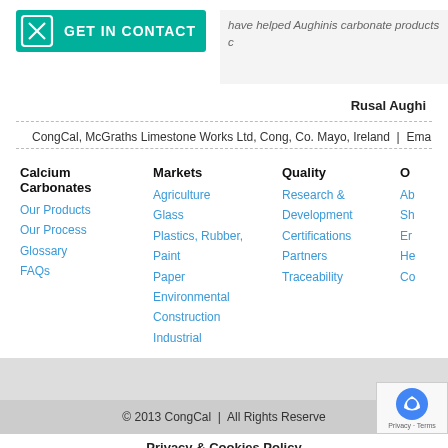[Figure (screenshot): Teal GET IN CONTACT button with an X icon on the left side]
have helped Aughinis carbonate products c
Rusal Aughi
CongCal, McGraths Limestone Works Ltd, Cong, Co. Mayo, Ireland | Ema
Calcium Carbonates
Our Products
Our Process
Glossary
FAQs
Markets
Agriculture
Glass
Plastics, Rubber, Paint
Paper
Environmental
Construction
Industrial
Quality
Research & Development
Certifications
Partners
Traceability
O
© 2013 CongCal  |  All Rights Reserve
Privacy & Cookies Policy